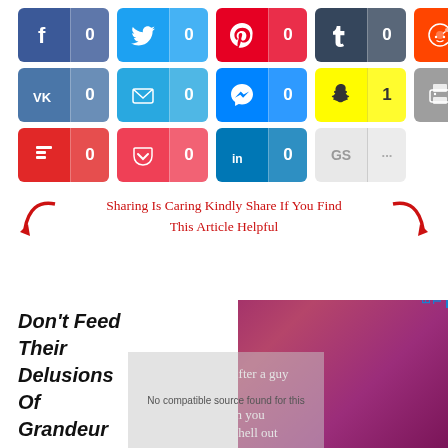[Figure (screenshot): Social media share buttons grid: row 1 - Facebook (0), Twitter (0), Pinterest (0), Tumblr (0), Reddit (0); row 2 - VK (0), Email (0), Messenger (0), Snapchat (1), Print (0); row 3 - Flipboard (0), Pocket (0), LinkedIn (0), GS (...)]
Sharing Is Caring Kindly Share If You Find This Article Helpful
Don't Feed Their Delusions Of Grandeur
[Figure (photo): Dark purple/pink gradient background with quote text: "Chasing after a guy who's not interested in you will rip the hell out" and a No compatible source overlay]
BACK TO TOP